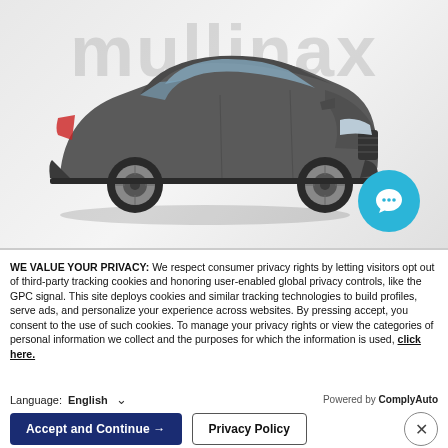[Figure (photo): A gray Ford Escape SUV photographed from a front three-quarter angle against a light gray background, with the 'mullinax' dealership watermark text behind it. A teal/blue circular chat bubble icon is overlaid at the lower right of the image area.]
WE VALUE YOUR PRIVACY: We respect consumer privacy rights by letting visitors opt out of third-party tracking cookies and honoring user-enabled global privacy controls, like the GPC signal. This site deploys cookies and similar tracking technologies to build profiles, serve ads, and personalize your experience across websites. By pressing accept, you consent to the use of such cookies. To manage your privacy rights or view the categories of personal information we collect and the purposes for which the information is used, click here.
Language: English ∨ Powered by ComplyAuto
Accept and Continue →  Privacy Policy  ×